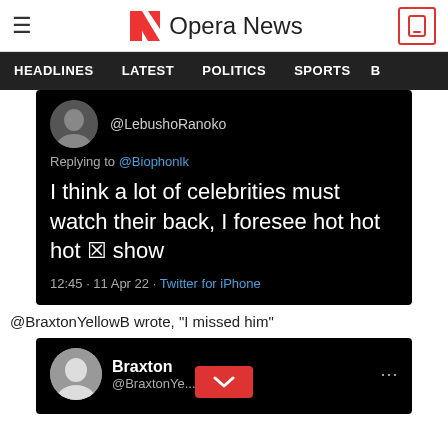Opera News
HEADLINES  LATEST  POLITICS  SPORTS
[Figure (screenshot): Tweet by @LebushoRanoko replying to @Biophonlk: I think a lot of celebrities must watch their back, I foresee hot hot hot 🔥 show. 12:45 · 11 Apr 22 · Twitter for iPhone]
@BraxtonYellowB wrote, "I missed him"
[Figure (screenshot): Tweet card by Braxton (@BraxtonYe...) with avatar photo]